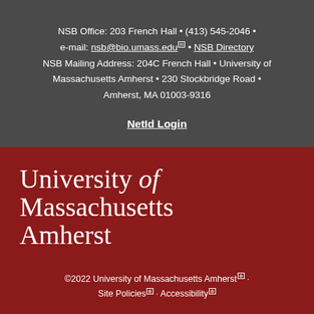NSB Office: 203 French Hall • (413) 545-2046 • e-mail: nsb@bio.umass.edu • NSB Directory
NSB Mailing Address: 204C French Hall • University of Massachusetts Amherst • 230 Stockbridge Road • Amherst, MA 01003-9316
NetId Login
[Figure (logo): University of Massachusetts Amherst logo in white text on dark red background]
©2022 University of Massachusetts Amherst · Site Policies · Accessibility